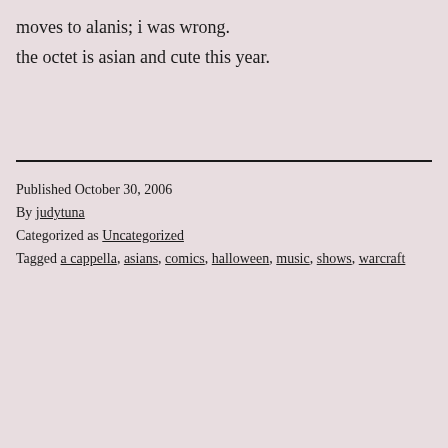moves to alanis; i was wrong.
the octet is asian and cute this year.
Published October 30, 2006
By judytuna
Categorized as Uncategorized
Tagged a cappella, asians, comics, halloween, music, shows, warcraft